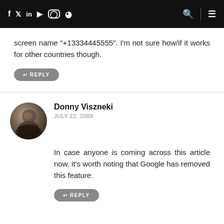f  twitter  in  youtube  instagram  rss  [search] | [menu]
screen name "+13334445555". I'm not sure how/if it works for other countries though.
REPLY
Donny Viszneki
JULY 22, 2009
In case anyone is coming across this article now, it's worth noting that Google has removed this feature.
REPLY